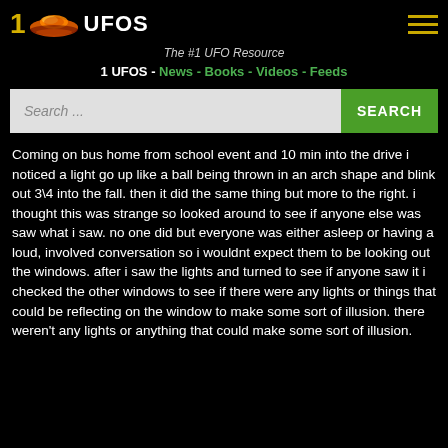1 UFOS
The #1 UFO Resource
1 UFOS - News - Books - Videos - Feeds
Search ...
Coming on bus home from school event and 10 min into the drive i noticed a light go up like a ball being thrown in an arch shape and blink out 3\4 into the fall. then it did the same thing but more to the right. i thought this was strange so looked around to see if anyone else was saw what i saw. no one did but everyone was either asleep or having a loud, involved conversation so i wouldnt expect them to be looking out the windows. after i saw the lights and turned to see if anyone saw it i checked the other windows to see if there were any lights or things that could be reflecting on the window to make some sort of illusion. there weren't any lights or anything that could make some sort of illusion.